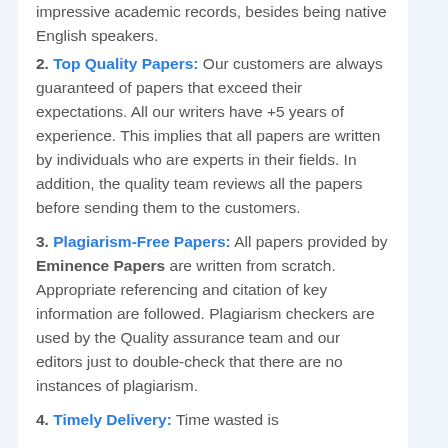impressive academic records, besides being native English speakers.
2. Top Quality Papers: Our customers are always guaranteed of papers that exceed their expectations. All our writers have +5 years of experience. This implies that all papers are written by individuals who are experts in their fields. In addition, the quality team reviews all the papers before sending them to the customers.
3. Plagiarism-Free Papers: All papers provided by Eminence Papers are written from scratch. Appropriate referencing and citation of key information are followed. Plagiarism checkers are used by the Quality assurance team and our editors just to double-check that there are no instances of plagiarism.
4. Timely Delivery: Time wasted is equivalent to a failed dedication and...